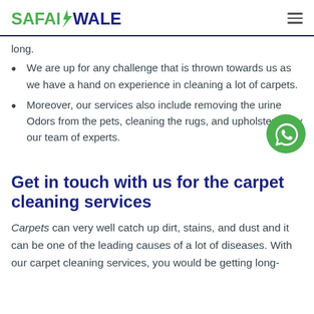SAFAIWALE
long.
We are up for any challenge that is thrown towards us as we have a hand on experience in cleaning a lot of carpets.
Moreover, our services also include removing the urine Odors from the pets, cleaning the rugs, and upholsteries by our team of experts.
[Figure (logo): WhatsApp contact button - green circular icon with WhatsApp logo]
Get in touch with us for the carpet cleaning services
Carpets can very well catch up dirt, stains, and dust and it can be one of the leading causes of a lot of diseases. With our carpet cleaning services, you would be getting long-